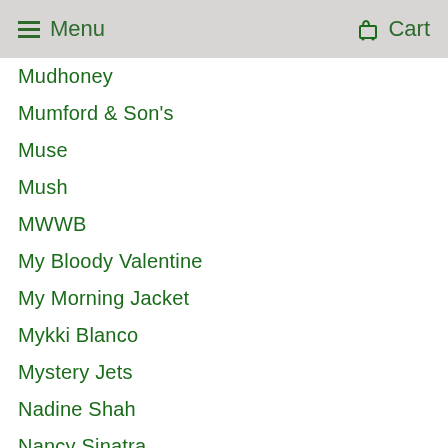Menu  Cart
Mudhoney
Mumford & Son's
Muse
Mush
MWWB
My Bloody Valentine
My Morning Jacket
Mykki Blanco
Mystery Jets
Nadine Shah
Nancy Sinatra
Nas
National Album Day
Neil Diamond